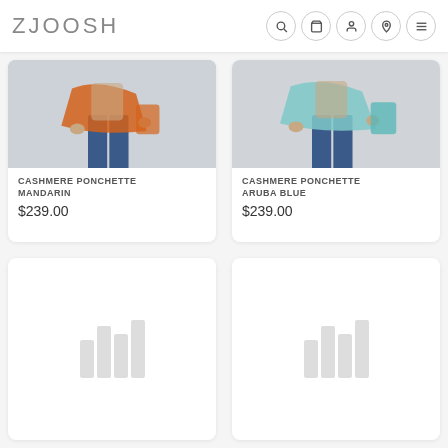ZJOOSH
[Figure (screenshot): Product card showing Cashmere Ponchette Mandarin - fashion product with person wearing jeans and orange poncho]
CASHMERE PONCHETTE MANDARIN
$239.00
[Figure (screenshot): Product card showing Cashmere Ponchette Aruba Blue - fashion product with person wearing jeans and blue poncho]
CASHMERE PONCHETTE ARUBA BLUE
$239.00
[Figure (other): Loading placeholder card with loading bars icon]
[Figure (other): Loading placeholder card with loading bars icon]